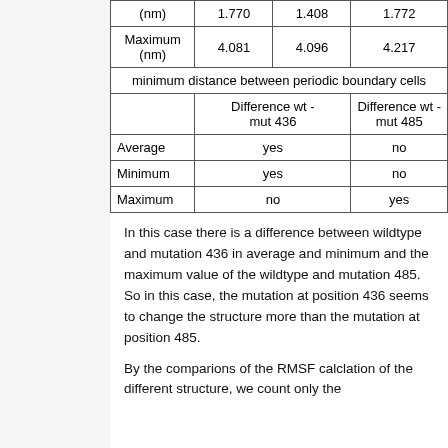|  | Difference wt - mut 436 | Difference wt - mut 485 |
| --- | --- | --- |
| (nm) | 1.770 | 1.408 | 1.772 |
| Maximum (nm) | 4.081 | 4.096 | 4.217 |
| minimum distance between periodic boundary cells |  |  |
|  | Difference wt - mut 436 | Difference wt - mut 485 |
| Average | yes | no |
| Minimum | yes | no |
| Maximum | no | yes |
In this case there is a difference between wildtype and mutation 436 in average and minimum and the maximum value of the wildtype and mutation 485. So in this case, the mutation at position 436 seems to change the structure more than the mutation at position 485.
By the comparions of the RMSF calclation of the different structure, we count only the